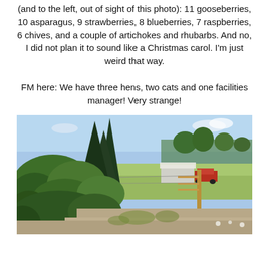(and to the left, out of sight of this photo): 11 gooseberries, 10 asparagus, 9 strawberries, 8 blueberries, 7 raspberries, 6 chives, and a couple of artichokes and rhubarbs. And no, I did not plan it to sound like a Christmas carol. I'm just weird that way.
FM here: We have three hens, two cats and one facilities manager! Very strange!
[Figure (photo): Outdoor garden/rural scene showing dense green shrubs and tall evergreen trees on the left, an open gravel/dirt area in the foreground, a wooden gate/fence post on the right, and in the background a building with a white roof and a red vehicle parked near it, under a partly cloudy blue sky.]